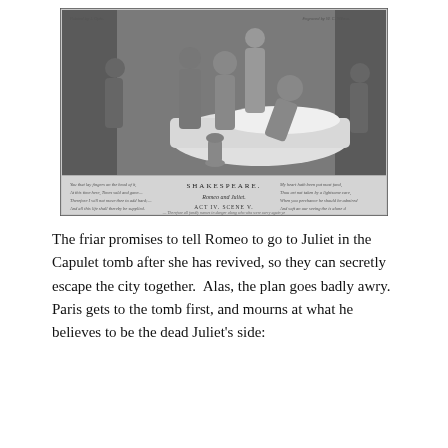[Figure (illustration): A black-and-white engraving depicting a scene from Shakespeare's Romeo and Juliet. Several figures in period costume are gathered around a woman lying on a bed or bier. Text below the image reads 'SHAKESPEARE' and 'Romeo and Juliet' and 'ACT IV. SCENE V.' with additional handwritten-style script text on both sides.]
The friar promises to tell Romeo to go to Juliet in the Capulet tomb after she has revived, so they can secretly escape the city together.  Alas, the plan goes badly awry. Paris gets to the tomb first, and mourns at what he believes to be the dead Juliet's side: